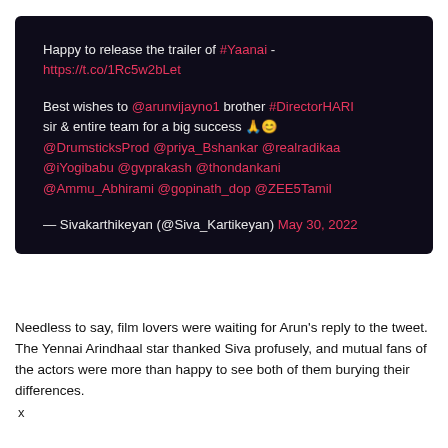[Figure (screenshot): Tweet screenshot from Sivakarthikeyan (@Siva_Kartikeyan) dated May 30, 2022 on a dark background. Tweet text: 'Happy to release the trailer of #Yaanai - https://t.co/1Rc5w2bLet

Best wishes to @arunvijayno1 brother #DirectorHARI sir & entire team for a big success 🙏😊 @DrumsticksProd @priya_Bshankar @realradikaa @iYogibabu @gvprakash @thondankani @Ammu_Abhirami @gopinath_dop @ZEE5Tamil']
Needless to say, film lovers were waiting for Arun's reply to the tweet. The Yennai Arindhaal star thanked Siva profusely, and mutual fans of the actors were more than happy to see both of them burying their differences.